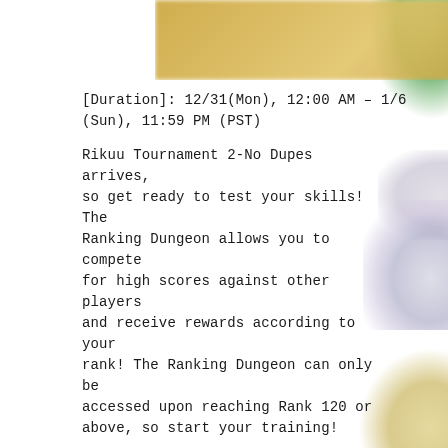[Figure (photo): Banner image with golden/yellow gradient background, blurred decorative image]
[Duration]: 12/31(Mon), 12:00 AM – 1/6 (Sun), 11:59 PM (PST)
Rikuu Tournament 2-No Dupes arrives, so get ready to test your skills! The Ranking Dungeon allows you to compete for high scores against other players and receive rewards according to your rank! The Ranking Dungeon can only be accessed upon reaching Rank 120 or above, so start your training!
Players can earn rewards just by clearing the dungeon! Players in the top 3 percentile will receive a Crown. Also players in the top 30 percentile will receive Calm Dragonhound, Rikuu and